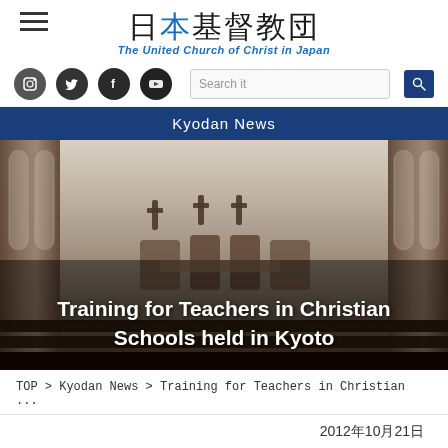日本基督教団 The United Church of Christ in Japan
Kyodan News
[Figure (photo): Interior of a historic Christian church in Japan, showing wooden pews, arched windows, an altar area with chairs, and a chandelier. The image serves as the hero background for the news article.]
Training for Teachers in Christian Schools held in Kyoto
TOP > Kyodan News > Training for Teachers in Christian ...
2012年10月21日